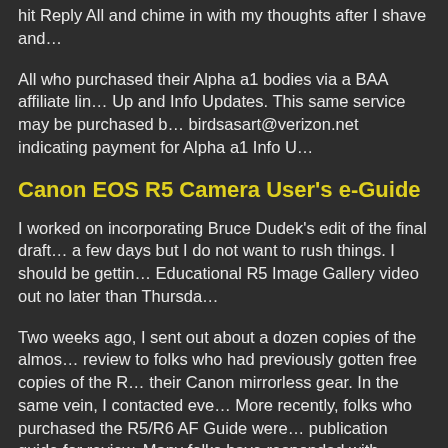hit Reply All and chime in with my thoughts after I shave and…
All who purchased their Alpha a1 bodies via a BAA affiliate li… Up and Info Updates. This same service may be purchased b… birdsasart@verizon.net indicating payment for Alpha a1 Info U…
Canon EOS R5 Camera User's e-Guide
I worked on incorporating Bruce Dudek's edit of the final draft… a few days but I do not want to rush things. I should be gettin… Educational R5 Image Gallery video out no later than Thursda…
Two weeks ago, I sent out about a dozen copies of the almos… review to folks who had previously gotten free copies of the R… their Canon mirrorless gear. In the same vein, I contacted eve… More recently, folks who purchased the R5/R6 AF Guide were… publication guide for review. Many folks have responded with… Howe. And Bruce Dudek has continued to be a valuable reso…
Because the camera and the Menus are so complex, this guid… time, and a lot of effort; I am thrilled that it is almost finished. … part of the complete Camera User's e-Guide; it has already b…
The complete Camera User's guide will sell for $75.00. Folks… receive a $65.00 discount; the guide will cost them a nominal… Canon mirrorless gear using either of my affiliate links (B&H…